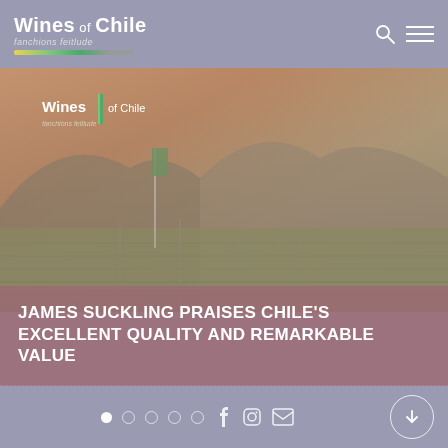Wines of Chile
[Figure (photo): Vineyard landscape in Chile with mountains in background under warm sunset sky, with Wines of Chile logo overlay]
JAMES SUCKLING PRAISES CHILE'S EXCELLENT QUALITY AND REMARKABLE VALUE